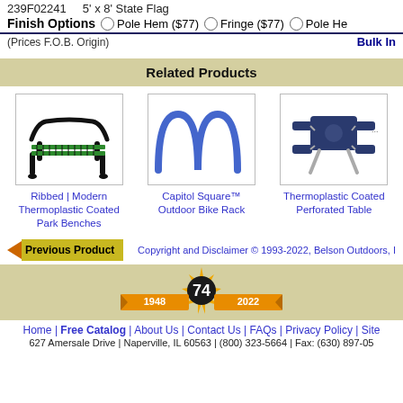239F02241   5' x 8' State Flag
Finish Options  ○ Pole Hem ($77)  ○ Fringe ($77)  ○ Pole Hem ...
(Prices F.O.B. Origin)
Bulk Inquiry
Related Products
[Figure (photo): Ribbed/Modern Thermoplastic Coated Park Bench in green and black]
Ribbed | Modern Thermoplastic Coated Park Benches
[Figure (photo): Capitol Square Outdoor Bike Rack in blue, serpentine wave shape]
Capitol Square™ Outdoor Bike Rack
[Figure (photo): Thermoplastic Coated Perforated Table in navy blue, square top with four seats]
Thermoplastic Coated Perforated Table
◄ Previous Product
Copyright and Disclaimer © 1993-2022, Belson Outdoors, I...
[Figure (logo): 74th anniversary badge 1948-2022 with starburst and ribbon]
Home | Free Catalog | About Us | Contact Us | FAQs | Privacy Policy | Site...
627 Amersale Drive | Naperville, IL 60563 | (800) 323-5664 | Fax: (630) 897-05...